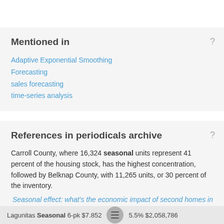Mentioned in
Adaptive Exponential Smoothing
Forecasting
sales forecasting
time-series analysis
References in periodicals archive
Carroll County, where 16,324 seasonal units represent 41 percent of the housing stock, has the highest concentration, followed by Belknap County, with 11,265 units, or 30 percent of the inventory.
Seasonal effect: what's the economic impact of second homes in New Hampshire?
Lagunitas Seasonal 6-pk $7.852  5.5% $2,058,786